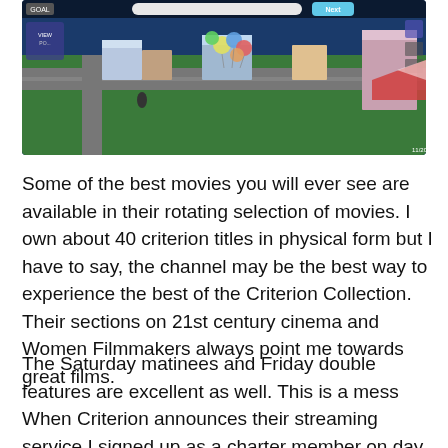[Figure (screenshot): Screenshot of a mobile city-building game showing an isometric view with roads, buildings, balloons, and game UI elements including a GOAL badge and Next button at the top.]
Some of the best movies you will ever see are available in their rotating selection of movies. I own about 40 criterion titles in physical form but I have to say, the channel may be the best way to experience the best of the Criterion Collection. Their sections on 21st century cinema and Women Filmmakers always point me towards great films.
The Saturday matinees and Friday double features are excellent as well. This is a mess When Criterion announces their streaming service I signed up as a charter member on day one. The day the app went live I was there. I was ready.